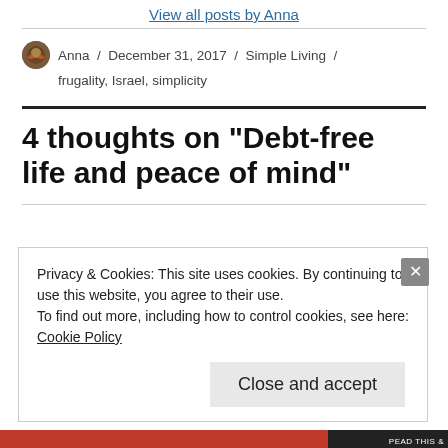View all posts by Anna
Anna / December 31, 2017 / Simple Living / frugality, Israel, simplicity
4 thoughts on “Debt-free life and peace of mind”
Privacy & Cookies: This site uses cookies. By continuing to use this website, you agree to their use.
To find out more, including how to control cookies, see here:
Cookie Policy
Close and accept